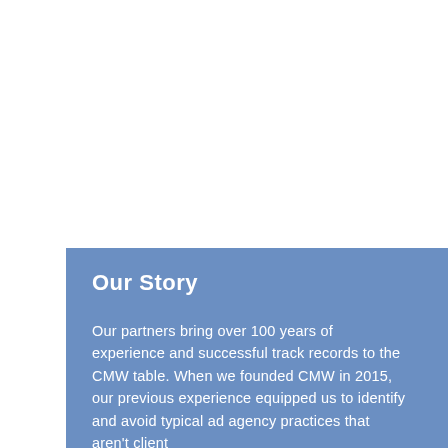Our Story
Our partners bring over 100 years of experience and successful track records to the CMW table. When we founded CMW in 2015, our previous experience equipped us to identify and avoid typical ad agency practices that aren't client friendly. The problems we saw at...